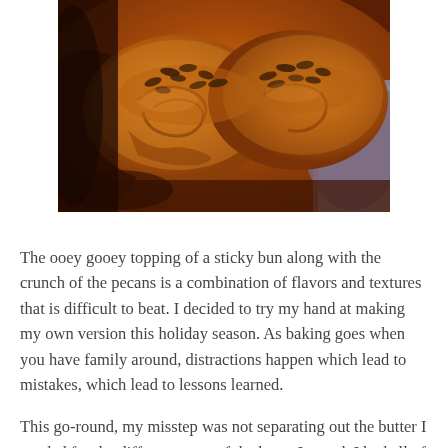[Figure (photo): Close-up photo of sticky buns topped with pecans and a gooey caramel glaze, served in a baking dish.]
The ooey gooey topping of a sticky bun along with the crunch of the pecans is a combination of flavors and textures that is difficult to beat. I decided to try my hand at making my own version this holiday season. As baking goes when you have family around, distractions happen which lead to mistakes, which lead to lessons learned.
This go-round, my misstep was not separating out the butter I needed for the different steps of the buns. Instead, I had all of the butter sitting out to reach room